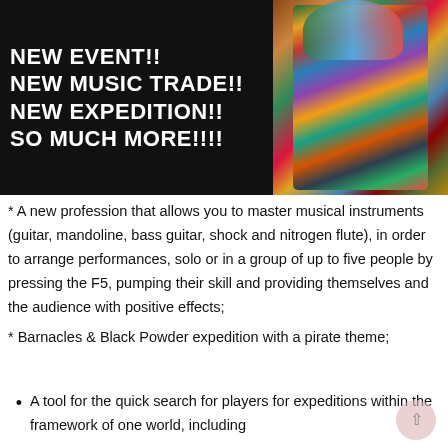[Figure (photo): A dark black banner with white bold text announcing new game features on the left side, and a colorful photo of a costumed figure in decorative ethnic/fantasy attire on the right side.]
* A new profession that allows you to master musical instruments (guitar, mandoline, bass guitar, shock and nitrogen flute), in order to arrange performances, solo or in a group of up to five people by pressing the F5, pumping their skill and providing themselves and the audience with positive effects;
* Barnacles & Black Powder expedition with a pirate theme;
A tool for the quick search for players for expeditions within the framework of one world, including